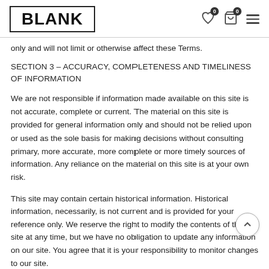BLANK
only and will not limit or otherwise affect these Terms.
SECTION 3 – ACCURACY, COMPLETENESS AND TIMELINESS OF INFORMATION
We are not responsible if information made available on this site is not accurate, complete or current. The material on this site is provided for general information only and should not be relied upon or used as the sole basis for making decisions without consulting primary, more accurate, more complete or more timely sources of information. Any reliance on the material on this site is at your own risk.
This site may contain certain historical information. Historical information, necessarily, is not current and is provided for your reference only. We reserve the right to modify the contents of this site at any time, but we have no obligation to update any information on our site. You agree that it is your responsibility to monitor changes to our site.